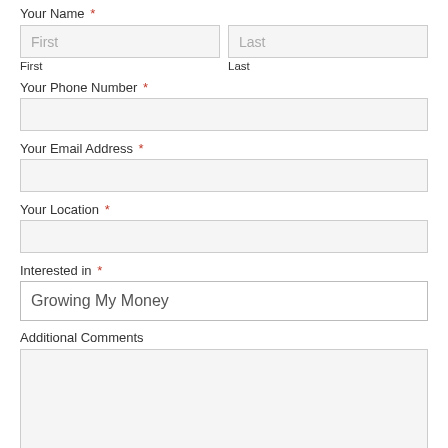Your Name *
First
Last
Your Phone Number *
Your Email Address *
Your Location *
Interested in *
Growing My Money
Additional Comments